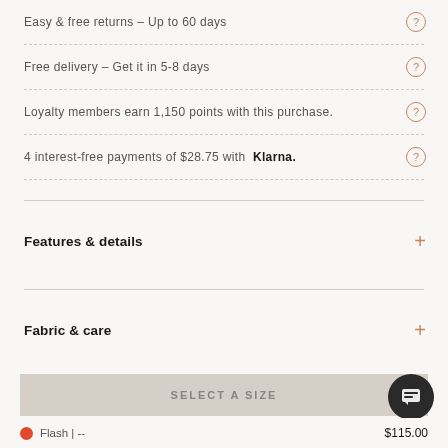Easy & free returns – Up to 60 days
Free delivery – Get it in 5-8 days
Loyalty members earn 1,150 points with this purchase.
4 interest-free payments of $28.75 with Klarna.
Features & details
Fabric & care
SELECT A SIZE
Flash | --
$115.00